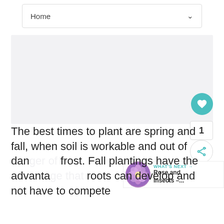Home
[Figure (photo): Large image placeholder area (light gray background), likely showing a plant or garden scene]
[Figure (illustration): Heart/favorite button (teal circle with white heart icon), count box showing '1', share button (circle with share icon)]
[Figure (photo): What's Next banner with purple flower thumbnail and text 'Rose and Insects –...']
The best times to plant are spring and fall, when soil is workable and out of danger of frost. Fall plantings have the advantage that roots can develop and not have to compete